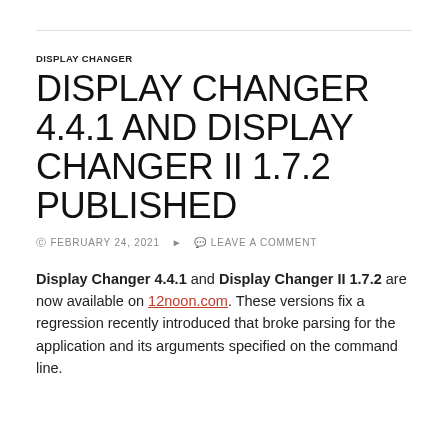DISPLAY CHANGER
DISPLAY CHANGER 4.4.1 AND DISPLAY CHANGER II 1.7.2 PUBLISHED
FEBRUARY 24, 2021   LEAVE A COMMENT
Display Changer 4.4.1 and Display Changer II 1.7.2 are now available on 12noon.com. These versions fix a regression recently introduced that broke parsing for the application and its arguments specified on the command line.